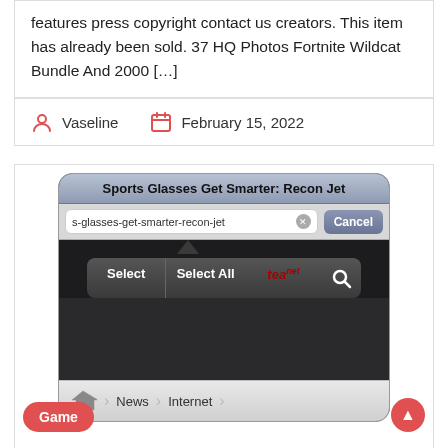features press copyright contact us creators. This item has already been sold. 37 HQ Photos Fortnite Wildcat Bundle And 2000 […]
Vaseline   February 15, 2022
[Figure (screenshot): iOS browser screenshot showing 'Sports Glasses Get Smarter: Recon Jet' page title, URL bar with 's-glasses-get-smarter-recon-jet', Cancel button, Select and Select All context menu, dark browser body, and bottom navigation bar with News > Internet breadcrumbs.]
Game
How To Access Clipboard On...